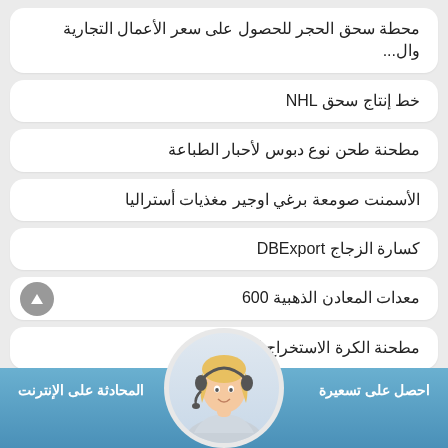محطة سحق الحجر للحصول على سعر الأعمال التجارية وال...
خط إنتاج سحق NHL
مطحنة طحن نوع دبوس لأحبار الطباعة
الأسمنت صومعة برغي اوجير مغذيات أستراليا
كسارة الزجاج DBExport
معدات المعادن الذهبية 600
مطحنة الكرة الاستخراج الكيميائية
المحادثة على الإنترنت   احصل على تسعيرة